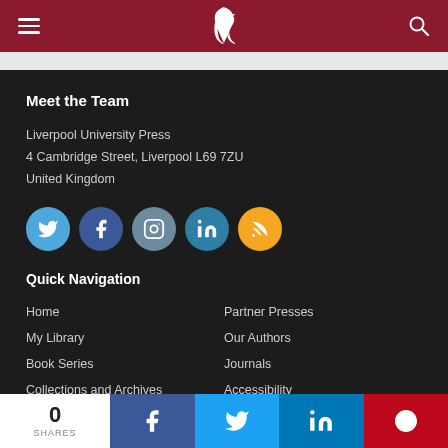Liverpool University Press website header with hamburger menu, swan logo, and search icon
Meet the Team
Liverpool University Press
4 Cambridge Street, Liverpool L69 7ZU
United Kingdom
[Figure (infographic): Social media icons row: Twitter, Facebook, Instagram, LinkedIn, RSS]
Quick Navigation
Home
My Library
Book Series
Collections and Archives
Partner Presses
Our Authors
Journals
Accessibility
0 SHARES — Share buttons: Facebook, Twitter, LinkedIn, Pinterest